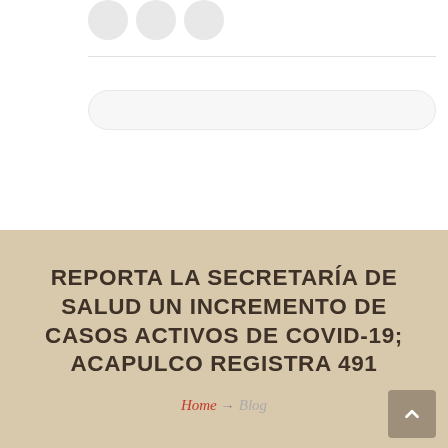[Figure (other): Three social media icon circles in gray]
REPORTA LA SECRETARÍA DE SALUD UN INCREMENTO DE CASOS ACTIVOS DE COVID-19; ACAPULCO REGISTRA 491
Home → Blog